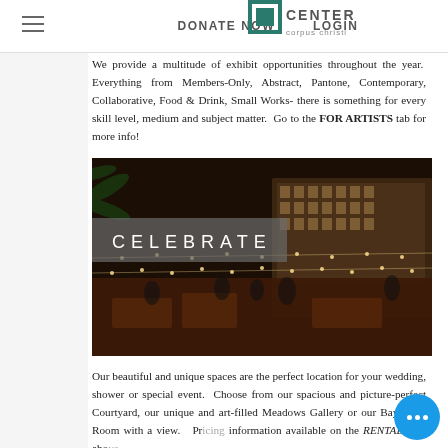DONATE NOW   LOGIN
[Figure (screenshot): Art Center Corpus Christi logo partial view at top]
We provide a multitude of exhibit opportunities throughout the year.  Everything from Members-Only, Abstract, Pantone, Contemporary, Collaborative, Food & Drink, Small Works- there is something for every skill level, medium and subject matter.  Go to the FOR ARTISTS tab for more info!
[Figure (photo): Night event photo of an outdoor courtyard with string lights, dining tables, and guests, overlaid with text CELEBRATE in a gray banner]
Our beautiful and unique spaces are the perfect location for your wedding, shower or special event.  Choose from our spacious and picture-perfect Courtyard, our unique and art-filled Meadows Gallery or our Bay View Room with a view.   Pricing information available on the RENTALS tab abo...